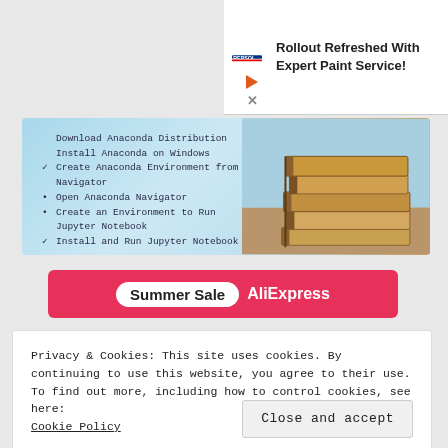[Figure (screenshot): Advertisement banner for a service with logo and text 'Rollout Refreshed With Expert Paint Service!']
[Figure (screenshot): Course banner with list items about Anaconda Distribution installation and setup, with stacked books image on the right]
Download Anaconda Distribution
Install Anaconda on Windows
✓ Create Anaconda Environment from Navigator
• Open Anaconda Navigator
• Create an Environment to Run Jupyter Notebook
✓ Install and Run Jupyter Notebook
[Figure (screenshot): Summer Sale AliExpress advertisement banner in pink/red]
Privacy & Cookies: This site uses cookies. By continuing to use this website, you agree to their use.
To find out more, including how to control cookies, see here: Cookie Policy
Close and accept